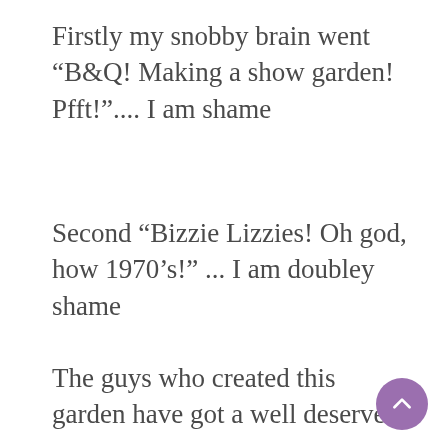Firstly my snobby brain went “B&Q! Making a show garden! Pfft!”.... I am shame
Second “Bizzie Lizzies! Oh god, how 1970’s!” ... I am doubley shame
The guys who created this garden have got a well deserved